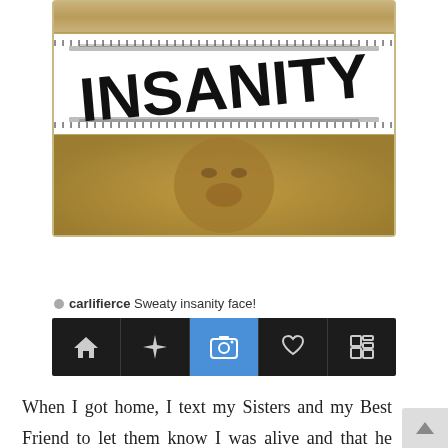[Figure (screenshot): Instagram post showing an 'INSANITY' stamp over a sepia-toned photo of a sweaty face, with Instagram navigation bar below]
carlifierce Sweaty insanity face!
[Figure (screenshot): Instagram navigation bar with home, explore, camera, search, and profile icons]
When I got home, I text my Sisters and my Best Friend to let them know I was alive and that he wasn't a creepy internet weirdo. Then I called my Gym Cousin to tell him about my date. I must have been caught up on my date